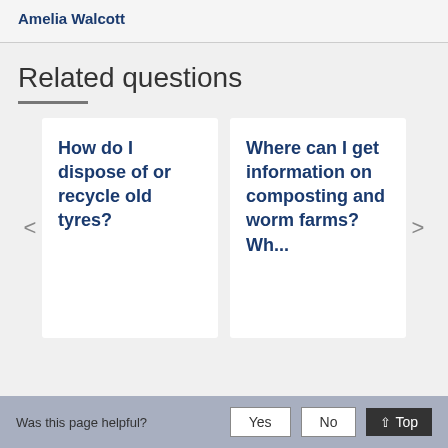Amelia Walcott
Related questions
How do I dispose of or recycle old tyres?
Where can I get information on composting and worm farms? Wh...
Was this page helpful?  Yes  No  ↑ Top